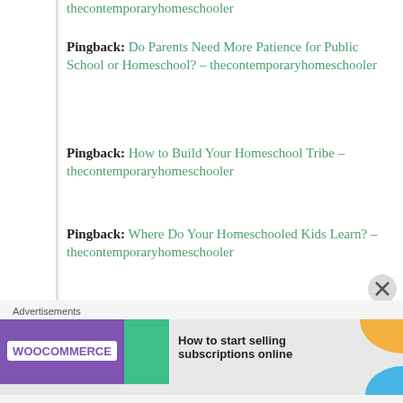thecontemporaryhomeschooler (truncated top)
Pingback: Do Parents Need More Patience for Public School or Homeschool? – thecontemporaryhomeschooler
Pingback: How to Build Your Homeschool Tribe – thecontemporaryhomeschooler
Pingback: Where Do Your Homeschooled Kids Learn? – thecontemporaryhomeschooler
Pingback: Top Read-Aloud Picks for Your Christmas Tree – thecontemporaryhomeschooler (partially visible)
Advertisements
[Figure (other): WooCommerce advertisement banner: purple WooCommerce logo with green arrow, text 'How to start selling subscriptions online', orange and blue decorative arcs]